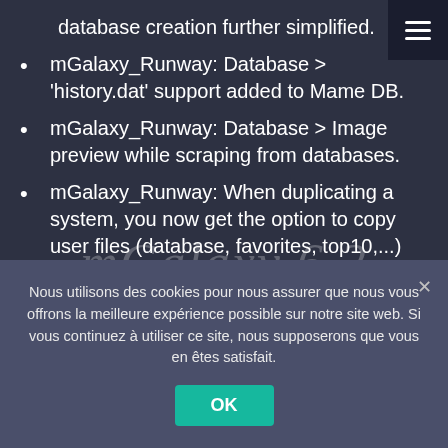database creation further simplified.
mGalaxy_Runway: Database > 'history.dat' support added to Mame DB.
mGalaxy_Runway: Database > Image preview while scraping from databases.
mGalaxy_Runway: When duplicating a system, you now get the option to copy user files (database, favorites, top10,...) from the 'original' system to the 'duplicated' system.
Nous utilisons des cookies pour nous assurer que nous vous offrons la meilleure expérience possible sur notre site web. Si vous continuez à utiliser ce site, nous supposerons que vous en êtes satisfait.